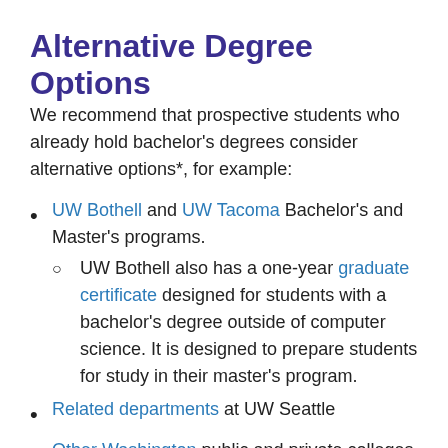Alternative Degree Options
We recommend that prospective students who already hold bachelor's degrees consider alternative options*, for example:
UW Bothell and UW Tacoma Bachelor's and Master's programs.
UW Bothell also has a one-year graduate certificate designed for students with a bachelor's degree outside of computer science. It is designed to prepare students for study in their master's program.
Related departments at UW Seattle
Other Washington public and private colleges
Oregon State University (online program)